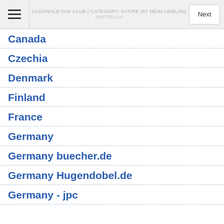ACDONALD FAN CLUB | CATEGORY: SATIRE IST MEIN LIEBLING | AUSTRALIA
Canada
Czechia
Denmark
Finland
France
Germany
Germany buecher.de
Germany Hugendobel.de
Germany - jpc